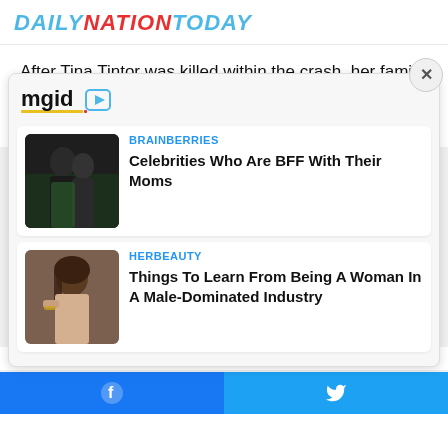DAILYNATIONTODAY
After Tina Tintor was killed within the crash, her family members spoke out.
[Figure (screenshot): MGID ad widget overlay showing two sponsored content cards: 1) BRAINBERRIES - 'Celebrities Who Are BFF With Their Moms' with photo of couple; 2) HERBEAUTY - 'Things To Learn From Being A Woman In A Male-Dominated Industry' with photo of woman. Widget has close X button and mgid logo.]
Facebook share | Twitter share